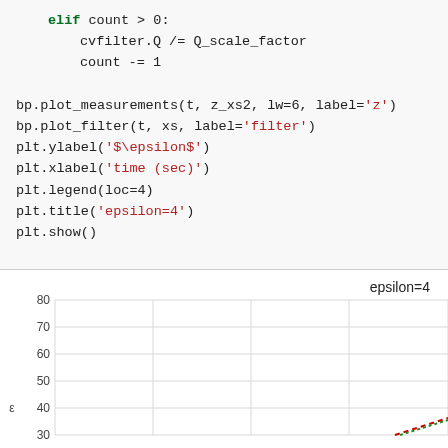[Figure (screenshot): Python code block showing elif count > 0 condition with cvfilter.Q /= Q_scale_factor and count -= 1, followed by calls to bp.plot_measurements, bp.plot_filter, plt.ylabel, plt.xlabel, plt.legend, plt.title, plt.show]
[Figure (line-chart): Partial line chart titled epsilon=4 showing y-axis from 30 to 80, with lines beginning to appear in the lower right corner of the visible area]